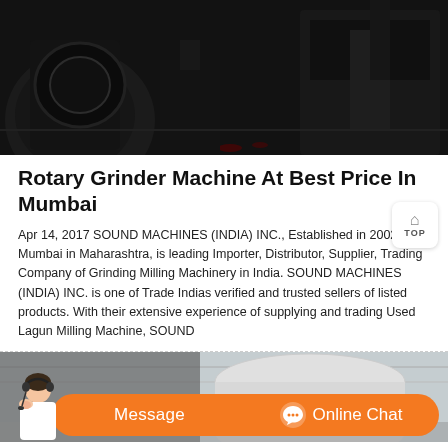[Figure (photo): Dark industrial workshop interior showing machinery and equipment including what appears to be a grinder or milling machine.]
Rotary Grinder Machine At Best Price In Mumbai
Apr 14, 2017 SOUND MACHINES (INDIA) INC., Established in 2002 at Mumbai in Maharashtra, is leading Importer, Distributor, Supplier, Trading Company of Grinding Milling Machinery in India. SOUND MACHINES (INDIA) INC. is one of Trade Indias verified and trusted sellers of listed products. With their extensive experience of supplying and trading Used Lagun Milling Machine, SOUND
[Figure (photo): Industrial facility interior with large cylindrical equipment, with an orange chat bar overlay at the bottom featuring a customer service representative, a Message button, and an Online Chat button.]